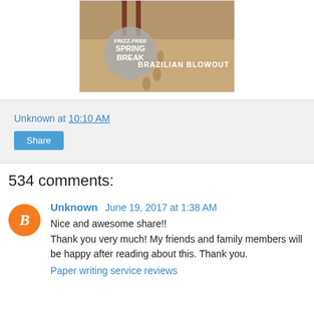[Figure (illustration): Brazilian Blowout advertisement image showing a beach scene with footprints in sand. A gray circle overlay reads 'FRIZZ-FREE SPRING BREAK' and white text reads 'BRAZILIAN BLOWOUT'.]
Unknown at 10:10 AM
Share
534 comments:
Unknown June 19, 2017 at 1:38 AM
Nice and awesome share!! Thank you very much! My friends and family members will be happy after reading about this. Thank you.
Paper writing service reviews